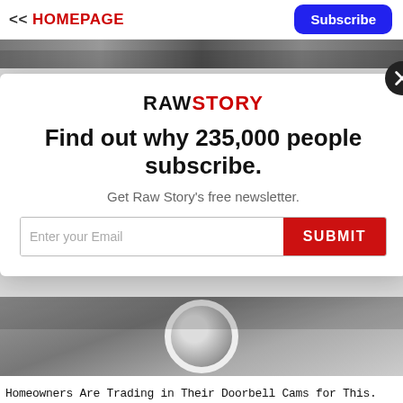<< HOMEPAGE  Subscribe
[Figure (photo): Banner image strip across the top of the page]
The Horrifying Truth About CBD
[Figure (screenshot): Raw Story newsletter subscription modal popup with logo, headline 'Find out why 235,000 people subscribe.', subtext 'Get Raw Story's free newsletter.', email input field and SUBMIT button, and close (X) button]
[Figure (photo): Photo of a person holding a doorbell camera device]
Homeowners Are Trading in Their Doorbell Cams for This.